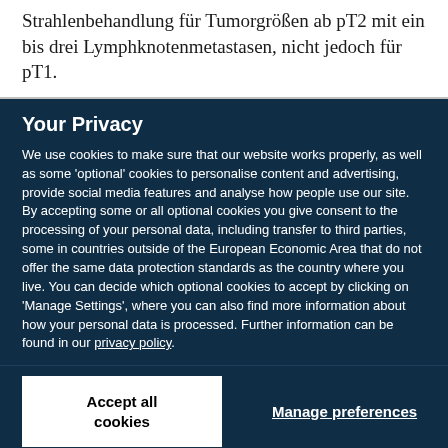Strahlenbehandlung für Tumorgrößen ab pT2 mit ein bis drei Lymphknotenmetastasen, nicht jedoch für pT1.
Your Privacy
We use cookies to make sure that our website works properly, as well as some 'optional' cookies to personalise content and advertising, provide social media features and analyse how people use our site. By accepting some or all optional cookies you give consent to the processing of your personal data, including transfer to third parties, some in countries outside of the European Economic Area that do not offer the same data protection standards as the country where you live. You can decide which optional cookies to accept by clicking on 'Manage Settings', where you can also find more information about how your personal data is processed. Further information can be found in our privacy policy.
Accept all cookies
Manage preferences